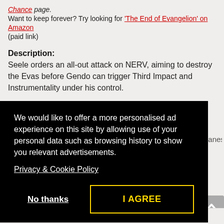Chance page. Want to keep forever? Try looking for 'The End of Evangelion' on Amazon (paid link)
Description:
Seele orders an all-out attack on NERV, aiming to destroy the Evas before Gendo can trigger Third Impact and Instrumentality under his control.
We would like to offer a more personalised ad experience on this site by allowing use of your personal data such as browsing history to show you relevant advertisements.
Privacy & Cookie Policy
No thanks
I AGREE
Cast: Megumi Ogata, Kotono Mitsuishi, Megumi